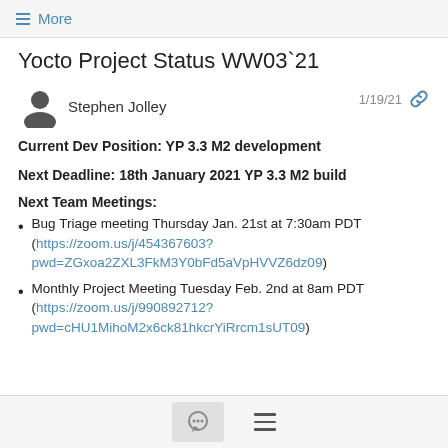≡ More
Yocto Project Status WW03`21
Stephen Jolley  1/19/21
Current Dev Position: YP 3.3 M2 development
Next Deadline: 18th January 2021 YP 3.3 M2 build
Next Team Meetings:
Bug Triage meeting Thursday Jan. 21st at 7:30am PDT (https://zoom.us/j/454367603?pwd=ZGxoa2ZXL3FkM3Y0bFd5aVpHVVZ6dz09)
Monthly Project Meeting Tuesday Feb. 2nd at 8am PDT (https://zoom.us/j/990892712?pwd=cHU1MihoM2x6ck81hkcrYiRrcm1sUT09)